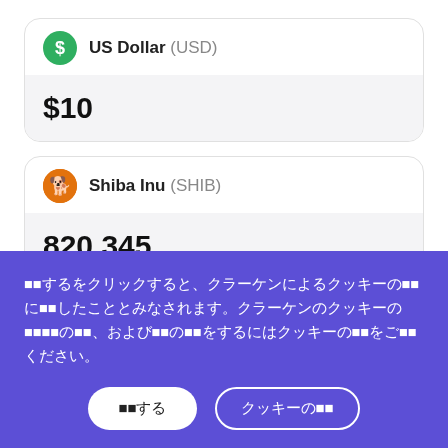[Figure (other): Currency conversion widget showing US Dollar (USD) input of $10 converting to Shiba Inu (SHIB) value of 820,345]
You can also check Shiba Inu's price in USD as well as important metrics such as Shiba Inu's trading volume, the percentage change in
⬛⬛するをクリックすると、クラーケンによるクッキーの⬛⬛に⬛⬛したこととみなされます。クラーケンのクッキーの⬛⬛⬛⬛の⬛⬛、および⬛⬛の⬛⬛をするにはクッキーの⬛⬛をご⬛⬛ください。
⬛⬛する
クッキーの⬛⬛